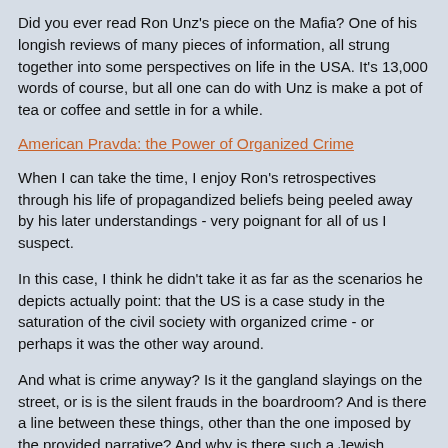Did you ever read Ron Unz's piece on the Mafia? One of his longish reviews of many pieces of information, all strung together into some perspectives on life in the USA. It's 13,000 words of course, but all one can do with Unz is make a pot of tea or coffee and settle in for a while.
American Pravda: the Power of Organized Crime
When I can take the time, I enjoy Ron's retrospectives through his life of propagandized beliefs being peeled away by his later understandings - very poignant for all of us I suspect.
In this case, I think he didn't take it as far as the scenarios he depicts actually point: that the US is a case study in the saturation of the civil society with organized crime - or perhaps it was the other way around.
And what is crime anyway? Is it the gangland slayings on the street, or is is the silent frauds in the boardroom? And is there a line between these things, other than the one imposed by the provided narrative? And why is there such a Jewish preponderance in all of these dealings?
We often speak of late stage capitalism, and I wonder if it makes more sense of things to speak of Late Stage Organized Crime when it comes to understanding the USA today?